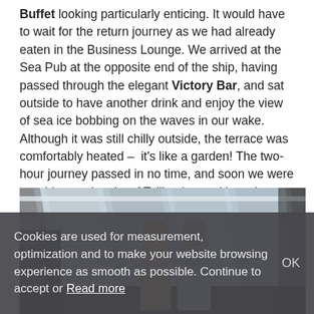Buffet looking particularly enticing. It would have to wait for the return journey as we had already eaten in the Business Lounge. We arrived at the Sea Pub at the opposite end of the ship, having passed through the elegant Victory Bar, and sat outside to have another drink and enjoy the view of sea ice bobbing on the waves in our wake. Although it was still chilly outside, the terrace was comfortably heated – it's like a garden! The two-hour journey passed in no time, and soon we were watching as the city of Tallinn loomed into view.
[Figure (photo): Two people (a woman and a man) standing in what appears to be a ship's lounge or corridor with large angled windows letting in natural light.]
Cookies are used for measurement, optimization and to make your website browsing experience as smooth as possible. Continue to accept or Read more